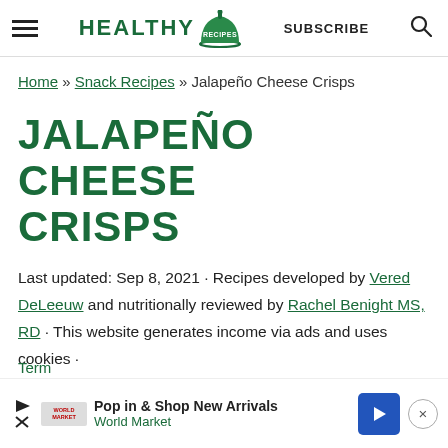HEALTHY RECIPES — SUBSCRIBE
Home » Snack Recipes » Jalapeño Cheese Crisps
JALAPEÑO CHEESE CRISPS
Last updated: Sep 8, 2021 · Recipes developed by Vered DeLeeuw and nutritionally reviewed by Rachel Benight MS, RD · This website generates income via ads and uses cookies · Term
[Figure (screenshot): Advertisement banner: Pop in & Shop New Arrivals — World Market, with blue arrow icon and close button]